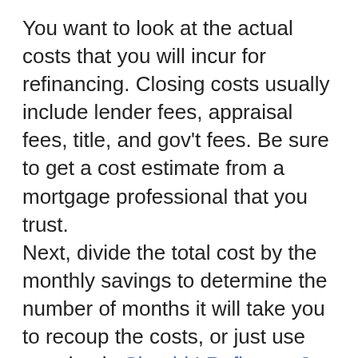You want to look at the actual costs that you will incur for refinancing. Closing costs usually include lender fees, appraisal fees, title, and gov't fees. Be sure to get a cost estimate from a mortgage professional that you trust.
Next, divide the total cost by the monthly savings to determine the number of months it will take you to recoup the costs, or just use our simple Should I Refinance? calculator to help you figure it out.
Once you have the answers to the above three questions, you are on the road to making a wise financial decision.